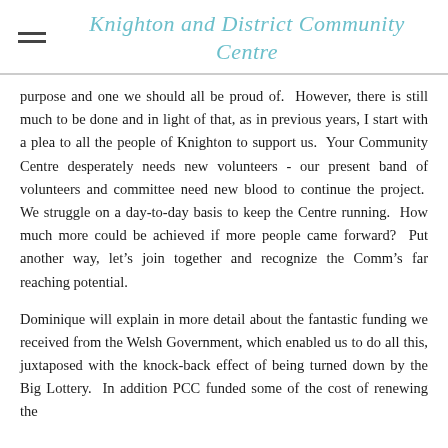Knighton and District Community Centre
purpose and one we should all be proud of. However, there is still much to be done and in light of that, as in previous years, I start with a plea to all the people of Knighton to support us. Your Community Centre desperately needs new volunteers - our present band of volunteers and committee need new blood to continue the project. We struggle on a day-to-day basis to keep the Centre running. How much more could be achieved if more people came forward? Put another way, let’s join together and recognize the Comm’s far reaching potential.
Dominique will explain in more detail about the fantastic funding we received from the Welsh Government, which enabled us to do all this, juxtaposed with the knock-back effect of being turned down by the Big Lottery. In addition PCC funded some of the cost of renewing the